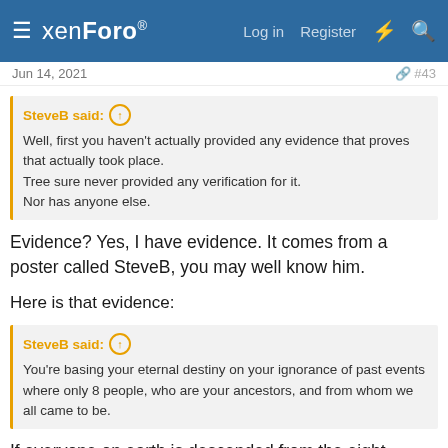xenForo — Log in | Register
Jun 14, 2021  #43
SteveB said: ↑
Well, first you haven't actually provided any evidence that proves that actually took place.
Tree sure never provided any verification for it.
Nor has anyone else.
Evidence? Yes, I have evidence. It comes from a poster called SteveB, you may well know him.
Here is that evidence:
SteveB said: ↑
You're basing your eternal destiny on your ignorance of past events where only 8 people, who are your ancestors, and from whom we all came to be.
If everyone on earth is descended from the eight people on the Ark, then every other person on the earth, who was not on the